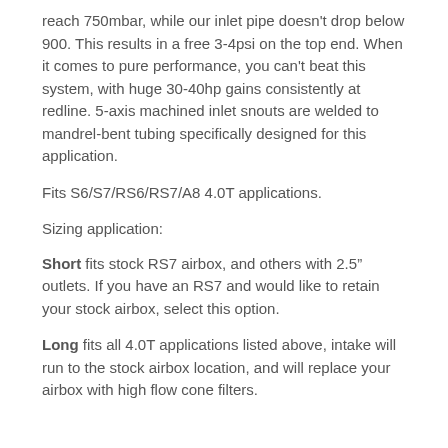reach 750mbar, while our inlet pipe doesn't drop below 900. This results in a free 3-4psi on the top end. When it comes to pure performance, you can't beat this system, with huge 30-40hp gains consistently at redline. 5-axis machined inlet snouts are welded to mandrel-bent tubing specifically designed for this application.
Fits S6/S7/RS6/RS7/A8 4.0T applications.
Sizing application:
Short fits stock RS7 airbox, and others with 2.5" outlets. If you have an RS7 and would like to retain your stock airbox, select this option.
Long fits all 4.0T applications listed above, intake will run to the stock airbox location, and will replace your airbox with high flow cone filters.